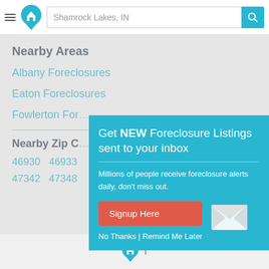Shamrock Lakes, IN
Nearby Areas
Albany Foreclosures
Eaton Foreclosures
Fowlerton Fore...
Nearby Zip C...
46930   46933
47342   47348
[Figure (screenshot): Popup modal with teal background: 'Get NEW Foreclosure Listings sent to your inbox'. Contains body text 'Millions of people receive foreclosure alerts daily, don't miss out.', a red 'Signup Here' button, an envelope icon, and links 'No Thanks | Remind Me Later'.]
foreclosures logo